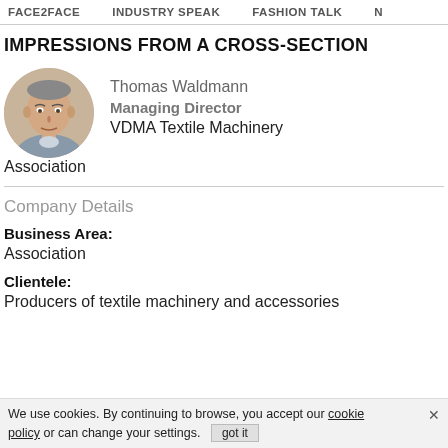FACE2FACE  INDUSTRY SPEAK  FASHION TALK  N
IMPRESSIONS FROM A CROSS-SECTION
[Figure (photo): Circular headshot photo of Thomas Waldmann, a middle-aged man in a suit]
Thomas Waldmann
Managing Director
VDMA Textile Machinery Association
Company Details
Business Area:
Association
Clientele:
Producers of textile machinery and accessories
We use cookies. By continuing to browse, you accept our cookie policy or can change your settings.  got it